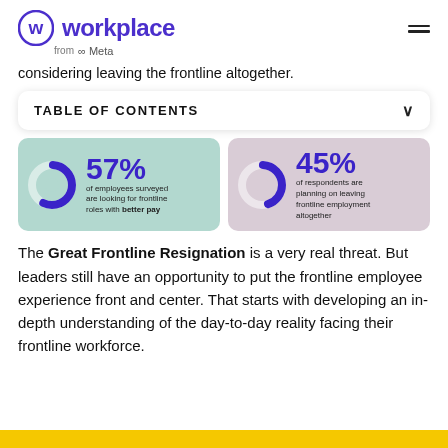workplace from Meta
considering leaving the frontline altogether.
TABLE OF CONTENTS
[Figure (donut-chart): 57% of employees surveyed are looking for frontline roles with better pay]
[Figure (donut-chart): 45% of respondents are planning on leaving frontline employment altogether]
The Great Frontline Resignation is a very real threat. But leaders still have an opportunity to put the frontline employee experience front and center. That starts with developing an in-depth understanding of the day-to-day reality facing their frontline workforce.